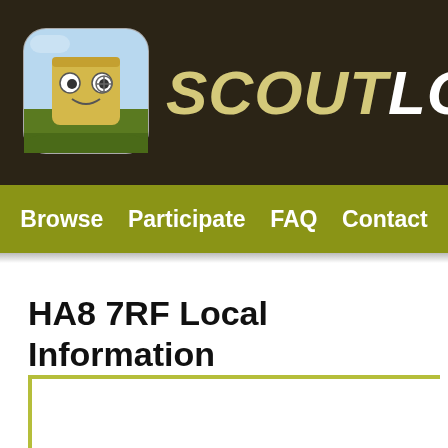[Figure (logo): ScoutLocal app icon - rounded square with cartoon house character on blue/green background]
SCOUTLOCAL
Browse  Participate  FAQ  Contact
HA8 7RF Local Information